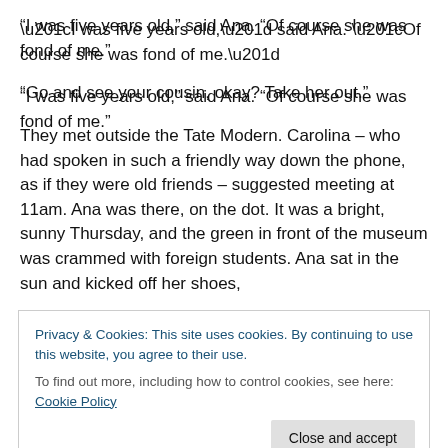“I was five years old,” said Ana. “Of course she was fond of me.”
“Go and see your cousin, okay? Take her out.”
They met outside the Tate Modern. Carolina – who had spoken in such a friendly way down the phone, as if they were old friends – suggested meeting at 11am. Ana was there, on the dot. It was a bright, sunny Thursday, and the green in front of the museum was crammed with foreign students. Ana sat in the sun and kicked off her shoes,
Privacy & Cookies: This site uses cookies. By continuing to use this website, you agree to their use.
To find out more, including how to control cookies, see here: Cookie Policy
Close and accept
unless she counted the photocopying she did at her